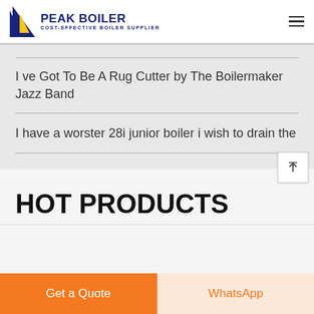PEAK BOILER COST-EFFECTIVE BOILER SUPPLIER
I ve Got To Be A Rug Cutter by The Boilermaker Jazz Band
I have a worster 28i junior boiler i wish to drain the
HOT PRODUCTS
Get a Quote
WhatsApp